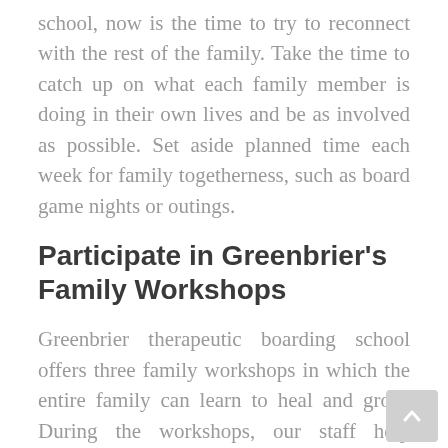school, now is the time to try to reconnect with the rest of the family. Take the time to catch up on what each family member is doing in their own lives and be as involved as possible. Set aside planned time each week for family togetherness, such as board game nights or outings.
Participate in Greenbrier's Family Workshops
Greenbrier therapeutic boarding school offers three family workshops in which the entire family can learn to heal and grow. During the workshops, our staff help explain what your daughter has been working on, explore multi-generational patterns and work on